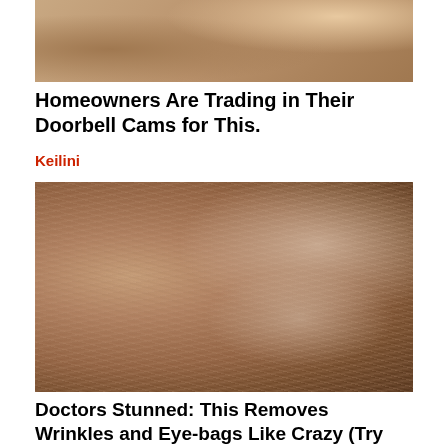[Figure (photo): Partial photo of a person's face/ear area, cropped at top]
Homeowners Are Trading in Their Doorbell Cams for This.
Keilini
[Figure (photo): Close-up photo of an elderly person's face with white cream/mask applied, showing wrinkles and skin texture]
Doctors Stunned: This Removes Wrinkles and Eye-bags Like Crazy (Try Tonight!)